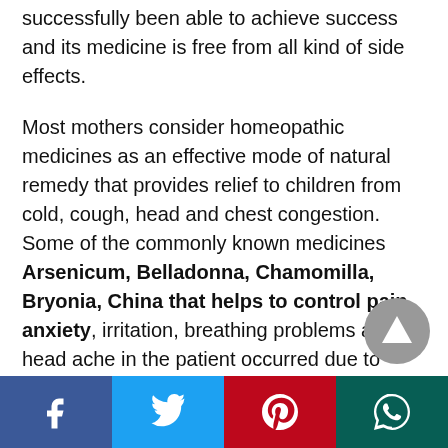successfully been able to achieve success and its medicine is free from all kind of side effects.
Most mothers consider homeopathic medicines as an effective mode of natural remedy that provides relief to children from cold, cough, head and chest congestion. Some of the commonly known medicines Arsenicum, Belladonna, Chamomilla, Bryonia, China that helps to control pain anxiety, irritation, breathing problems and head ache in the patient occurred due to head congestion.
But one need to consult a homeopathic
[Figure (other): Gray circular scroll-to-top button with upward-pointing triangle]
[Figure (infographic): Social media share bar with Facebook, Twitter, Pinterest, and WhatsApp buttons]